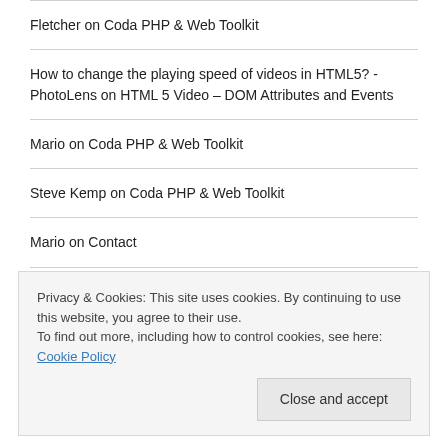Fletcher on Coda PHP & Web Toolkit
How to change the playing speed of videos in HTML5? - PhotoLens on HTML 5 Video – DOM Attributes and Events
Mario on Coda PHP & Web Toolkit
Steve Kemp on Coda PHP & Web Toolkit
Mario on Contact
Privacy & Cookies: This site uses cookies. By continuing to use this website, you agree to their use.
To find out more, including how to control cookies, see here: Cookie Policy